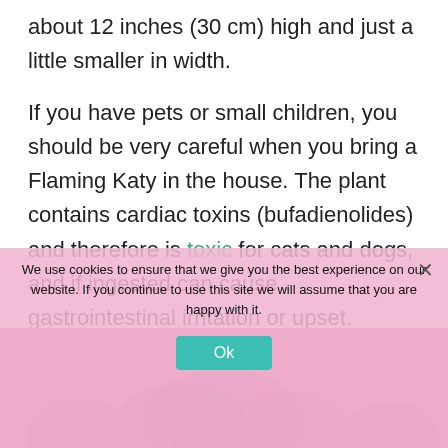about 12 inches (30 cm) high and just a little smaller in width.
If you have pets or small children, you should be very careful when you bring a Flaming Katy in the house. The plant contains cardiac toxins (bufadienolides) and therefore is toxic for cats and dogs, and if ingested can cause gastrointestinal irritation or upset.
We use cookies to ensure that we give you the best experience on our website. If you continue to use this site we will assume that you are happy with it.
[Figure (photo): Pink flowering Flaming Katy plant, partially obscured by cookie consent banner]